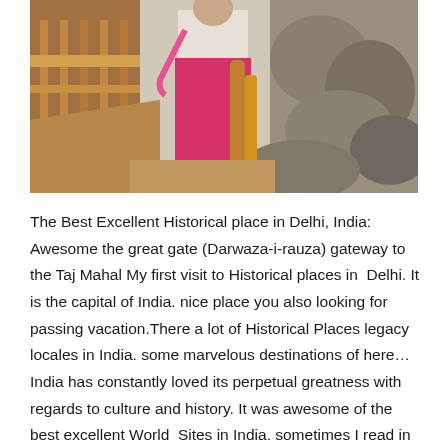[Figure (photo): A person wearing white top and bright pink/magenta salwar kameez walking on a wooden bridge with railings, with large rocks visible on the right side in the background.]
The Best Excellent Historical place in Delhi, India: Awesome the great gate (Darwaza-i-rauza) gateway to the Taj Mahal My first visit to Historical places in  Delhi. It is the capital of India. nice place you also looking for passing vacation.There a lot of Historical Places legacy locales in India. some marvelous destinations of here…India has constantly loved its perpetual greatness with regards to culture and history. It was awesome of the best excellent World  Sites in India. sometimes I read in the history book. I feel those time when I visit those places. want to see